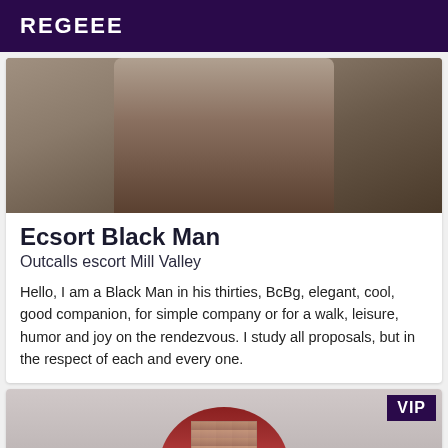REGEEE
[Figure (photo): Photo showing the lower body and hands of a person in business attire, holding what appears to a briefcase or bag]
Ecsort Black Man
Outcalls escort Mill Valley
Hello, I am a Black Man in his thirties, BcBg, elegant, cool, good companion, for simple company or for a walk, leisure, humor and joy on the rendezvous. I study all proposals, but in the respect of each and every one.
[Figure (photo): Photo of a person with red/auburn hair, face pixelated/blurred for anonymity, with a VIP badge overlay in the top right corner]